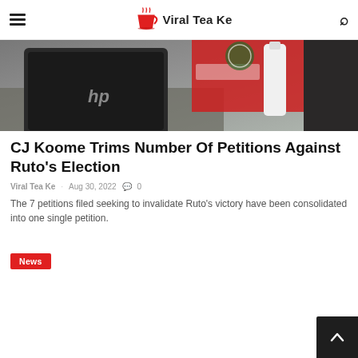Viral Tea Ke
[Figure (photo): Photo showing an HP laptop on a table with a red garment and a white bottle in the background]
CJ Koome Trims Number Of Petitions Against Ruto's Election
Viral Tea Ke   Aug 30, 2022   0
The 7 petitions filed seeking to invalidate Ruto's victory have been consolidated into one single petition.
News